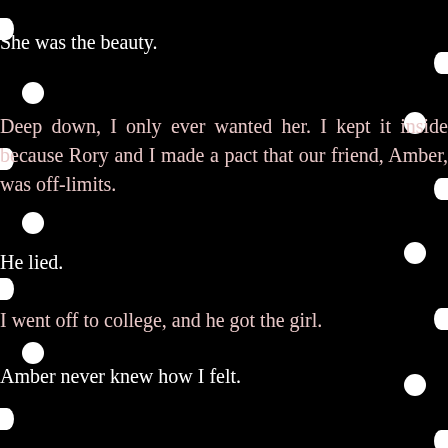She was the beauty.
Deep down, I only ever wanted her. I kept it inside because Rory and I made a pact that our friend, Amber, was off-limits.
He lied.
I went off to college, and he got the girl.
Amber never knew how I felt.
They were together for years—before he broke her heart.
Through it all and across the miles, she and I casually stayed in touch.